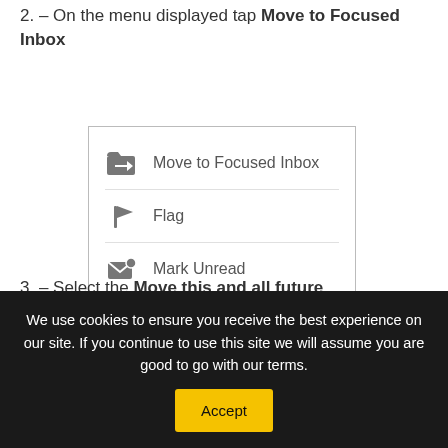2. – On the menu displayed tap Move to Focused Inbox
[Figure (screenshot): A mobile menu showing three options: 'Move to Focused Inbox' with a folder-arrow icon, 'Flag' with a flag icon, and 'Mark Unread' with an envelope icon.]
3. – Select the Move this and all future
We use cookies to ensure you receive the best experience on our site. If you continue to use this site we will assume you are good to go with our terms.